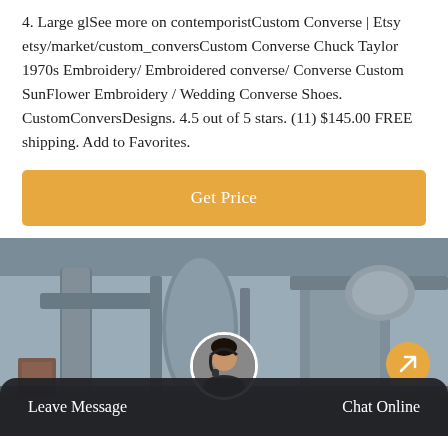4. Large glSee more on contemporistCustom Converse | Etsy etsy/market/custom_conversCustom Converse Chuck Taylor 1970s Embroidery/ Embroidered converse/ Converse Custom SunFlower Embroidery / Wedding Converse Shoes. CustomConversDesigns. 4.5 out of 5 stars. (11) $145.00 FREE shipping. Add to Favorites.
[Figure (other): Orange 'Get Price' button]
[Figure (photo): Industrial factory machinery interior, gray metallic pipes and equipment]
Leave Message    Chat Online